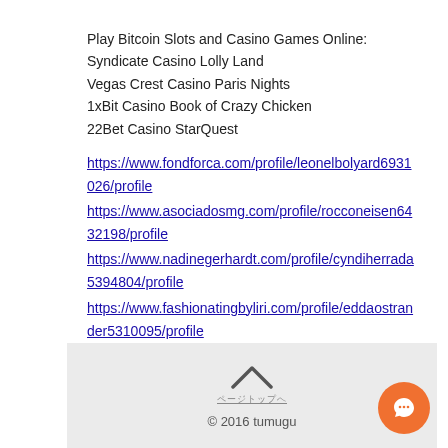Play Bitcoin Slots and Casino Games Online:
Syndicate Casino Lolly Land
Vegas Crest Casino Paris Nights
1xBit Casino Book of Crazy Chicken
22Bet Casino StarQuest
https://www.fondforca.com/profile/leonelbolyard6931026/profile
https://www.asociadosmg.com/profile/rocconeisen6432198/profile
https://www.nadinegerhardt.com/profile/cyndiherrada5394804/profile
https://www.fashionatingbyliri.com/profile/eddaostrander5310095/profile
© 2016 tumugu